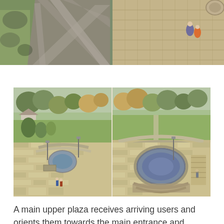[Figure (photo): Aerial/overhead view of plaza with stone pavers, grass areas, and people walking. Two sections visible - left showing diagonal stone slabs with green grass, right showing overhead view of paved area with people.]
[Figure (photo): Two aerial photographs side by side of an upper plaza area showing curved amphitheater-style seating, a central fountain/water feature, patterned pavers in tan and grey, surrounding green spaces and trees, and visitors walking through the space.]
A main upper plaza receives arriving users and orients them towards the main entrance and